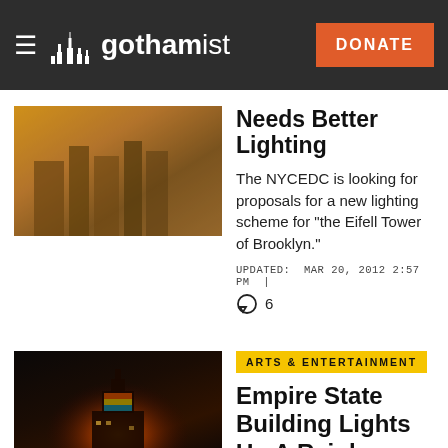gothamist
Needs Better Lighting
The NYCEDC is looking for proposals for a new lighting scheme for "the Eifell Tower of Brooklyn."
UPDATED: MAR 20, 2012 2:57 PM |
6
ARTS & ENTERTAINMENT
Empire State Building Lights Up A Rainbow
[UPDATE BELOW] If you haven't noticed, the Empire State Building